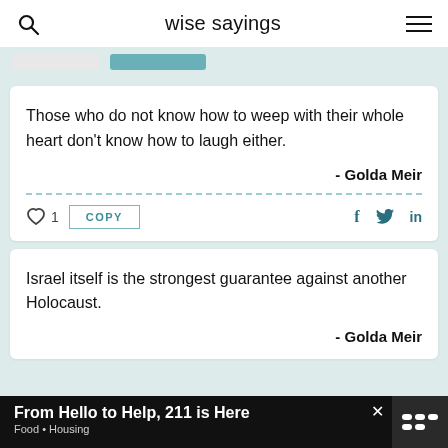wise sayings
Those who do not know how to weep with their whole heart don't know how to laugh either.
- Golda Meir
Israel itself is the strongest guarantee against another Holocaust.
- Golda Meir
From Hello to Help, 211 is Here
Food • Housing